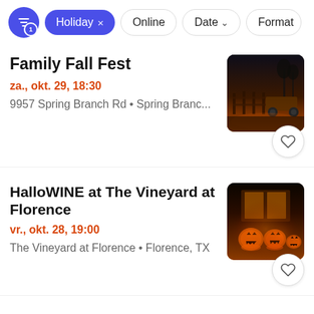Holiday × Online Date ▾ Format
Family Fall Fest
za., okt. 29, 18:30
9957 Spring Branch Rd • Spring Branc...
[Figure (photo): Nighttime outdoor scene with trailer/wagon and fence, warm orange lighting]
HalloWINE at The Vineyard at Florence
vr., okt. 28, 19:00
The Vineyard at Florence • Florence, TX
[Figure (photo): Jack-o-lanterns glowing at night with warm orange Halloween lighting]